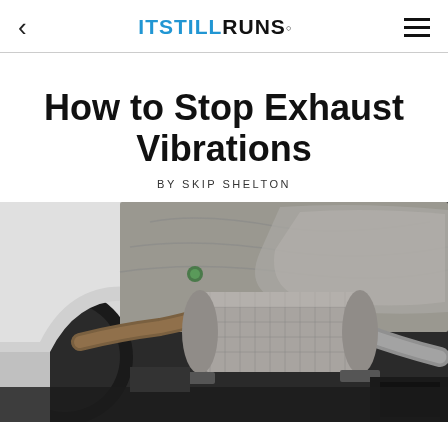ITSTILLRUNS
How to Stop Exhaust Vibrations
BY SKIP SHELTON
[Figure (photo): Underside view of a vehicle showing the exhaust system including catalytic converter and exhaust pipes]